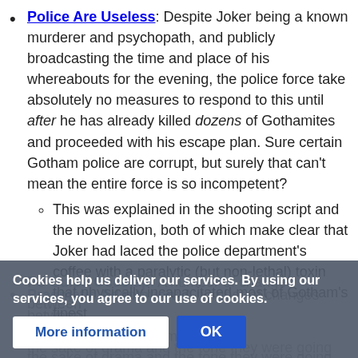Police Are Useless: Despite Joker being a known murderer and psychopath, and publicly broadcasting the time and place of his whereabouts for the evening, the police force take absolutely no measures to respond to this until after he has already killed dozens of Gothamites and proceeded with his escape plan. Sure certain Gotham police are corrupt, but surely that can't mean the entire force is so incompetent?
This was explained in the shooting script and the novelization, both of which make clear that Joker had laced the police department's coffee with a paralytic (but non-lethal) toxin that physically incapacitated most of Gotham's finest.
Cookies help us deliver our services. By using our services, you agree to our use of cookies.
Pragmatic Adaptation: A number of changes between the film and ... were made for the sake of drama and the tone they were going for.